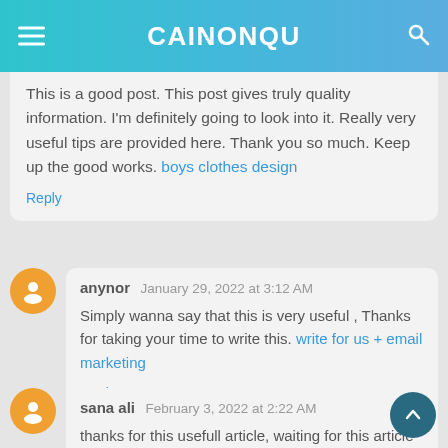CAINONQU
This is a good post. This post gives truly quality information. I'm definitely going to look into it. Really very useful tips are provided here. Thank you so much. Keep up the good works. boys clothes design
Reply
anynor  January 29, 2022 at 3:12 AM
Simply wanna say that this is very useful , Thanks for taking your time to write this. write for us + email marketing
Reply
sana ali  February 3, 2022 at 2:22 AM
thanks for this usefull article, waiting for this article like